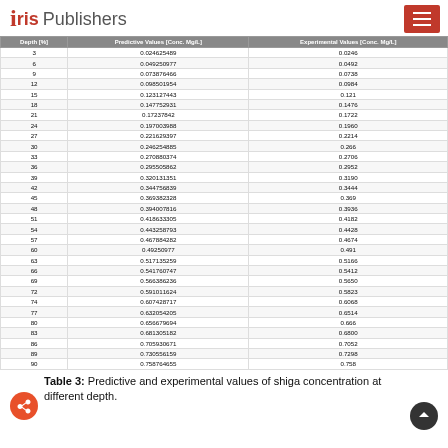Iris Publishers
| Depth [%] | Predictive Values [Conc. Mg/L] | Experimental Values [Conc. Mg/L] |
| --- | --- | --- |
| 3 | 0.024625489 | 0.0246 |
| 6 | 0.049250977 | 0.0492 |
| 9 | 0.073876466 | 0.0738 |
| 12 | 0.098501954 | 0.0984 |
| 15 | 0.123127443 | 0.121 |
| 18 | 0.147752931 | 0.1476 |
| 21 | 0.17237842 | 0.1722 |
| 24 | 0.197003988 | 0.1960 |
| 27 | 0.221629397 | 0.2214 |
| 30 | 0.246254885 | 0.266 |
| 33 | 0.270880374 | 0.2706 |
| 36 | 0.295505862 | 0.2952 |
| 39 | 0.320131351 | 0.3190 |
| 42 | 0.344756839 | 0.3444 |
| 45 | 0.369382328 | 0.369 |
| 48 | 0.394007816 | 0.3936 |
| 51 | 0.418633305 | 0.4182 |
| 54 | 0.443258793 | 0.4428 |
| 57 | 0.467884282 | 0.4674 |
| 60 | 0.49250977 | 0.491 |
| 63 | 0.517135259 | 0.5166 |
| 66 | 0.541760747 | 0.5412 |
| 69 | 0.566386236 | 0.5650 |
| 72 | 0.591011624 | 0.5823 |
| 74 | 0.607428717 | 0.6068 |
| 77 | 0.632054205 | 0.6514 |
| 80 | 0.656679694 | 0.666 |
| 83 | 0.681305182 | 0.6800 |
| 86 | 0.705930671 | 0.7052 |
| 89 | 0.730556159 | 0.7298 |
| 90 | 0.758764655 | 0.758 |
Table 3: Predictive and experimental values of shiga concentration at different depth.